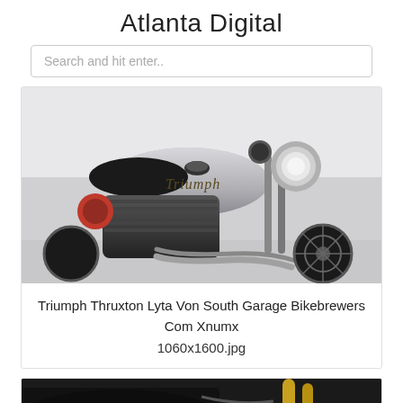Atlanta Digital
Search and hit enter..
[Figure (photo): Close-up photograph of a Triumph Thruxton motorcycle, showing the silver fuel tank with Triumph logo, chrome headlight, engine, and front fork against a light gray background.]
Triumph Thruxton Lyta Von South Garage Bikebrewers Com Xnumx
1060x1600.jpg
[Figure (photo): Close-up photograph of a motorcycle showing dark bodywork and a gold/yellow front fork suspension, in dark tones.]